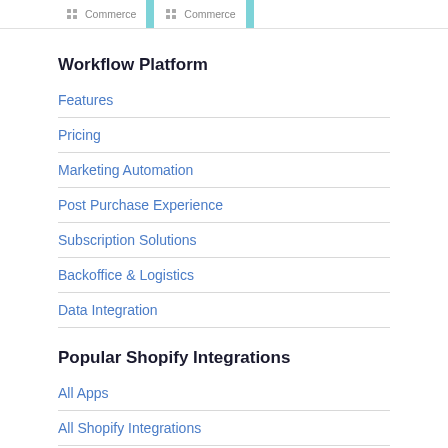Commerce  Commerce
Workflow Platform
Features
Pricing
Marketing Automation
Post Purchase Experience
Subscription Solutions
Backoffice & Logistics
Data Integration
Popular Shopify Integrations
All Apps
All Shopify Integrations
Shopify to Google Sheets
Shopify to Salesforce